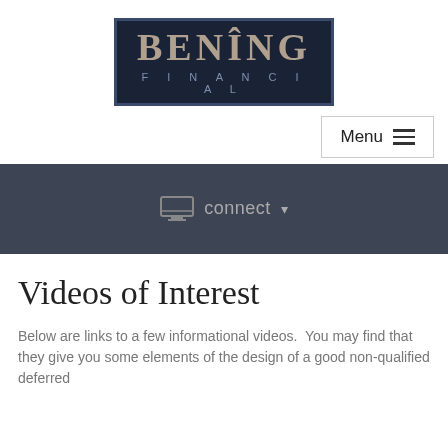[Figure (logo): Bening Financial logo: dark navy box with 'BENING' in large serif letters and 'FINANCIAL' in spaced sans-serif below]
Menu ≡
[Figure (other): Dark grey navigation bar with monitor icon and 'connect ▾' text]
Videos of Interest
Below are links to a few informational videos.  You may find that they give you some elements of the design of a good non-qualified deferred...